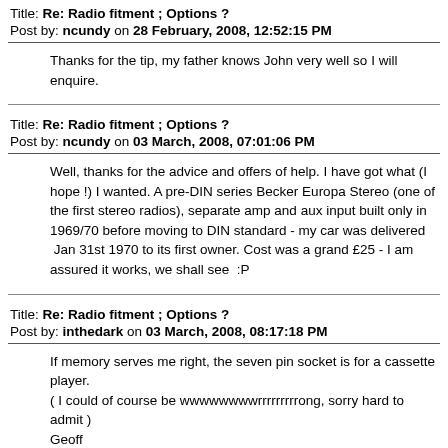Title: Re: Radio fitment ; Options ?
Post by: ncundy on 28 February, 2008, 12:52:15 PM
Thanks for the tip, my father knows John very well so I will enquire.
Title: Re: Radio fitment ; Options ?
Post by: ncundy on 03 March, 2008, 07:01:06 PM
Well, thanks for the advice and offers of help. I have got what (I hope !) I wanted. A pre-DIN series Becker Europa Stereo (one of the first stereo radios), separate amp and aux input built only in 1969/70 before moving to DIN standard - my car was delivered  Jan 31st 1970 to its first owner. Cost was a grand £25 - I am assured it works, we shall see  :P
Title: Re: Radio fitment ; Options ?
Post by: inthedark on 03 March, 2008, 08:17:18 PM
If memory serves me right, the seven pin socket is for a cassette player.
( I could of course be wwwwwwwwrrrrrrrrrong, sorry hard to admit )
Geoff
Title: Re: Radio fitment ; Options ?
Post by: ...on 03 March, 2008, 09:47:44 PM